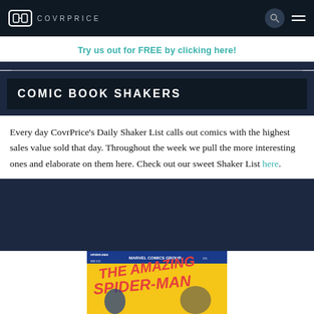COVRPRICE
Try us out for FREE by clicking here!
COMIC BOOK SHAKERS
Every day CovrPrice’s Daily Shaker List calls out comics with the highest sales value sold that day. Throughout the week we pull the more interesting ones and elaborate on them here. Check out our sweet Shaker List here.
[Figure (photo): Amazing Spider-Man Marvel Comics Group comic book cover, issue #111, 20 cents, featuring Spider-Man and another character on a yellow/orange illustrated cover.]